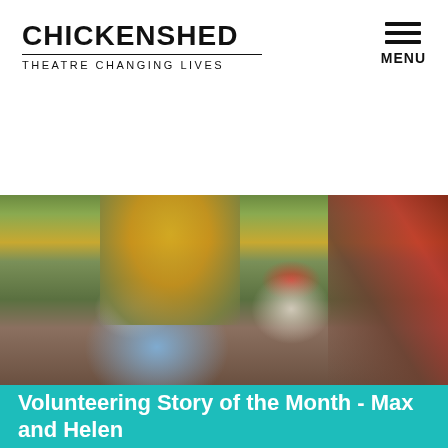CHICKENSHED
THEATRE CHANGING LIVES
[Figure (photo): Two smiling people (a woman with blonde hair and a man with grey hair) standing outdoors in an autumn garden setting with colourful trees including yellow/gold and red foliage in the background.]
Volunteering Story of the Month - Max and Helen